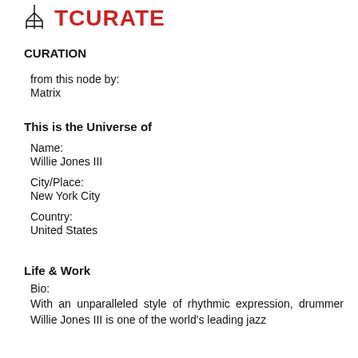TCURATE
CURATION
from this node by:
Matrix
This is the Universe of
Name:
Willie Jones III
City/Place:
New York City
Country:
United States
Life & Work
Bio:
With an unparalleled style of rhythmic expression, drummer Willie Jones III is one of the world's leading jazz